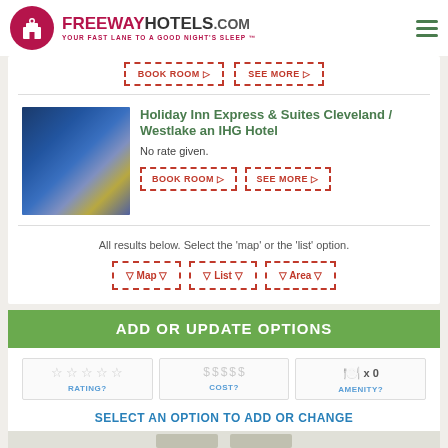FREEWAYHOTELS.COM YOUR FAST LANE TO A GOOD NIGHT'S SLEEP™
BOOK ROOM ▷   SEE MORE ▷
Holiday Inn Express & Suites Cleveland / Westlake an IHG Hotel
No rate given.
BOOK ROOM ▷   SEE MORE ▷
All results below. Select the 'map' or the 'list' option.
▽ Map ▽   ▽ List ▽   ▽ Area ▽
ADD OR UPDATE OPTIONS
RATING?   COST?   AMENITY?
SELECT AN OPTION TO ADD OR CHANGE